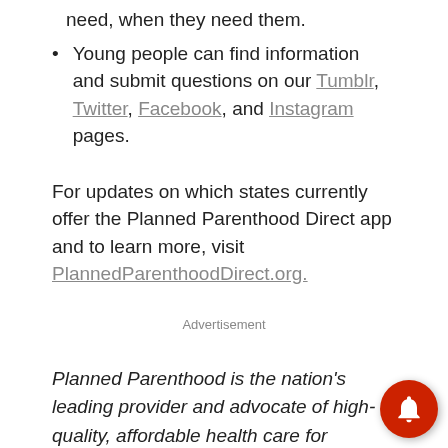need, when they need them.
Young people can find information and submit questions on our Tumblr, Twitter, Facebook, and Instagram pages.
For updates on which states currently offer the Planned Parenthood Direct app and to learn more, visit PlannedParenthoodDirect.org.
Advertisement
Planned Parenthood is the nation's leading provider and advocate of high-quality, affordable health care for women, men, and young people as well as the nation's largest provider of sex